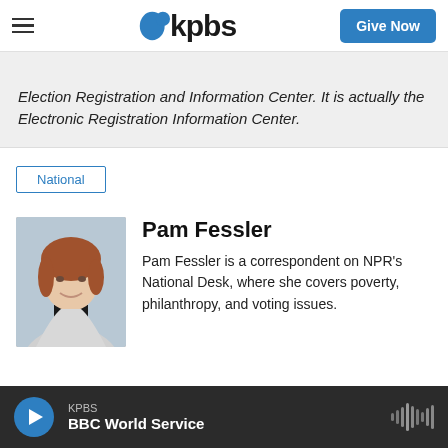KPBS — Give Now
Election Registration and Information Center. It is actually the Electronic Registration Information Center.
National
Pam Fessler
Pam Fessler is a correspondent on NPR's National Desk, where she covers poverty, philanthropy, and voting issues.
KPBS BBC World Service